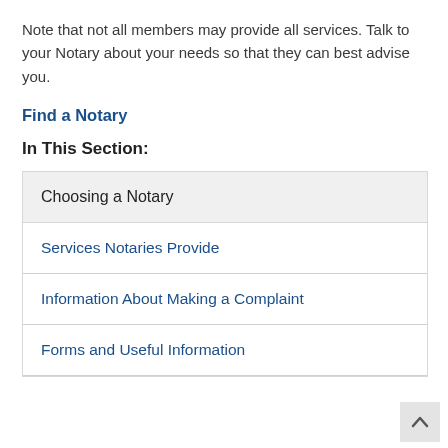Note that not all members may provide all services. Talk to your Notary about your needs so that they can best advise you.
Find a Notary
In This Section:
Choosing a Notary
Services Notaries Provide
Information About Making a Complaint
Forms and Useful Information